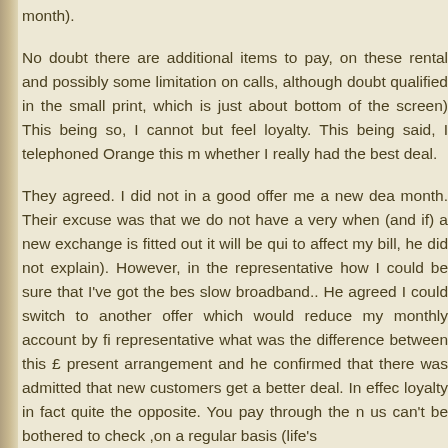month).
No doubt there are additional items to pay, on these rental and possibly some limitation on calls, although doubt qualified in the small print, which is just about bottom of the screen) This being so, I cannot but feel loyalty. This being said, I telephoned Orange this m whether I really had the best deal.
They agreed. I did not in a good offer me a new dea month. Their excuse was that we do not have a very when (and if) a new exchange is fitted out it will be qui to affect my bill, he did not explain). However, in the representative how I could be sure that I've got the bes slow broadband.. He agreed I could switch to another offer which would reduce my monthly account by fi representative what was the difference between this £ present arrangement and he confirmed that there was admitted that new customers get a better deal. In effec loyalty in fact quite the opposite. You pay through the n us can't be bothered to check ,on a regular basis (life's